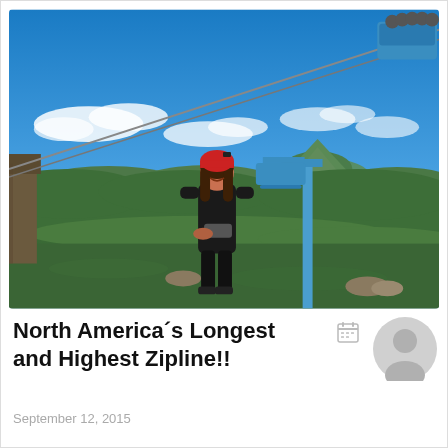[Figure (photo): Woman wearing a red helmet and black zip-line harness gear, standing on a hilltop with a panoramic mountain and forest view behind her. A blue ski-lift pole and cable car infrastructure is visible to the right. Bright blue sky with scattered clouds above green rolling mountains.]
North America´s Longest and Highest Zipline!!
September 12, 2015